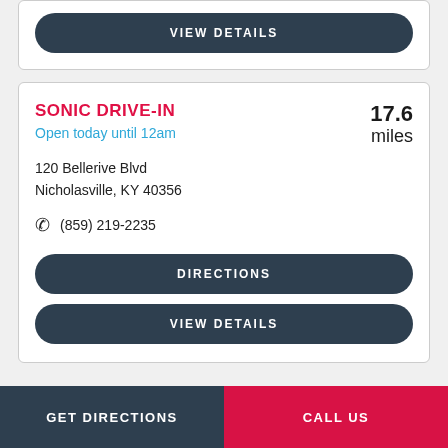[Figure (screenshot): Top portion of a location card with a VIEW DETAILS button]
SONIC DRIVE-IN
Open today until 12am
17.6 miles
120 Bellerive Blvd
Nicholasville, KY 40356
(859) 219-2235
DIRECTIONS
VIEW DETAILS
GET DIRECTIONS
CALL US